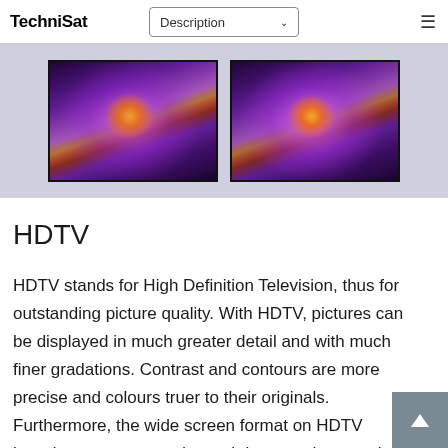TechniSat | Description
[Figure (photo): Two side-by-side photographs of a purple water lily flower with orange and pink stamens, shown as comparison images for HD vs non-HD display quality.]
HDTV
HDTV stands for High Definition Television, thus for outstanding picture quality. With HDTV, pictures can be displayed in much greater detail and with much finer gradations. Contrast and contours are more precise and colours truer to their originals. Furthermore, the wide screen format on HDTV broadcasts corresponds much better to human visual perception. So it creates a more